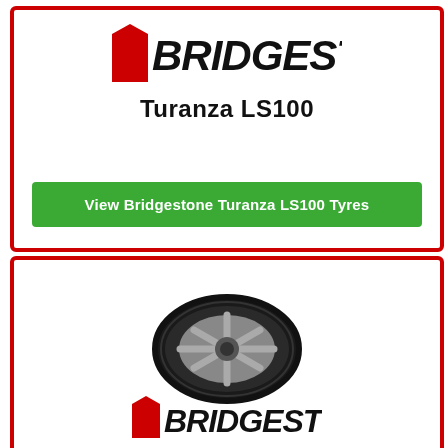[Figure (logo): Bridgestone logo in black and red italic font]
Turanza LS100
View Bridgestone Turanza LS100 Tyres
[Figure (photo): Photo of a Bridgestone Turanza LS100 tyre with silver alloy wheel, angled view]
[Figure (logo): Bridgestone logo in black and red italic font (partial, bottom of page)]